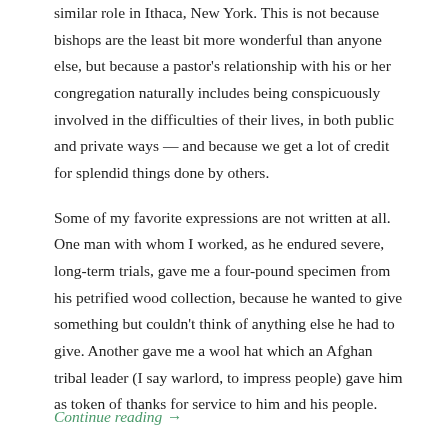similar role in Ithaca, New York. This is not because bishops are the least bit more wonderful than anyone else, but because a pastor's relationship with his or her congregation naturally includes being conspicuously involved in the difficulties of their lives, in both public and private ways — and because we get a lot of credit for splendid things done by others.
Some of my favorite expressions are not written at all. One man with whom I worked, as he endured severe, long-term trials, gave me a four-pound specimen from his petrified wood collection, because he wanted to give something but couldn't think of anything else he had to give. Another gave me a wool hat which an Afghan tribal leader (I say warlord, to impress people) gave him as token of thanks for service to him and his people.
Continue reading →